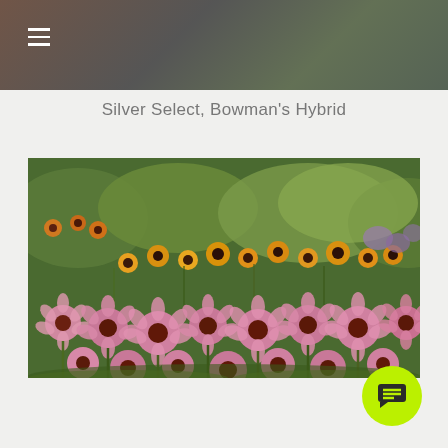Silver Select, Bowman's Hybrid
[Figure (photo): Garden photo showing pink echinacea/coneflowers in foreground and yellow rudbeckia flowers in the background amid green foliage]
[Figure (illustration): Lime green circular chat/message button with a speech bubble icon in the bottom right corner]